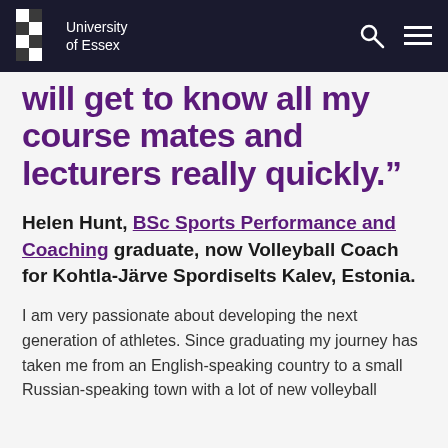University of Essex
will get to know all my course mates and lecturers really quickly.”
Helen Hunt, BSc Sports Performance and Coaching graduate, now Volleyball Coach for Kohtla-Järve Spordiselts Kalev, Estonia.
I am very passionate about developing the next generation of athletes. Since graduating my journey has taken me from an English-speaking country to a small Russian-speaking town with a lot of new volleyball